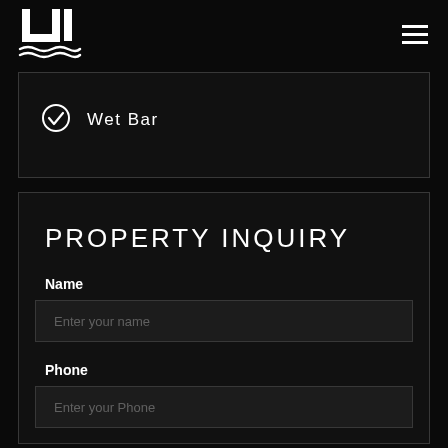[Figure (logo): LJU logo with stylized letters and wave lines beneath, white on black]
Wet Bar
PROPERTY INQUIRY
Name
Enter your name
Phone
Enter your Phone